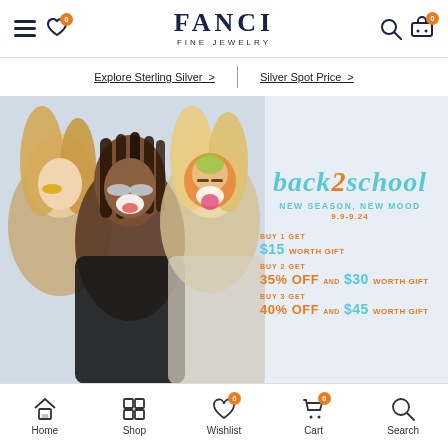FANCI FINE JEWELRY — navigation header with menu, wishlist, search, cart icons
Explore Sterling Silver >  |  Silver Spot Price >
[Figure (photo): Three young women smiling with face paint/patches, promotional banner for Back 2 School sale with text: NEW SEASON, NEW MOOD 9.9-9.24 BUY 1 GET $15 WORTH GIFT, BUY 2 GET 35% OFF AND $30 WORTH GIFT, BUY 3 GET 40% OFF AND $45 WORTH GIFT]
Home | Shop | Wishlist (0) | Cart (0) | Search